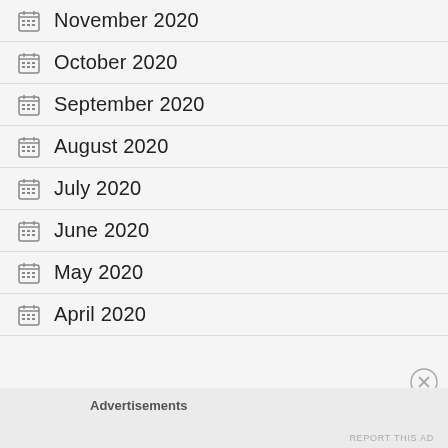November 2020
October 2020
September 2020
August 2020
July 2020
June 2020
May 2020
April 2020
Advertisements
REPORT THIS AD